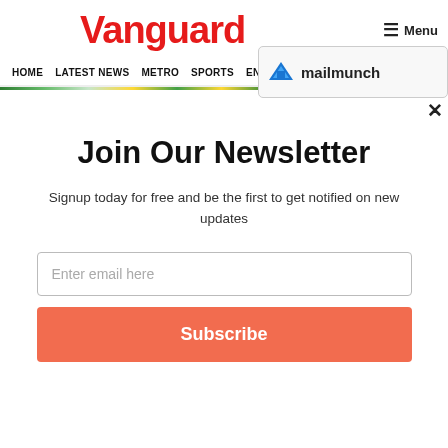Vanguard  Menu
HOME  LATEST NEWS  METRO  SPORTS  ENTERTAINMENT  VIDEOS
[Figure (screenshot): Mailmunch popup overlay showing blue M logo and mailmunch text with close X button]
Join Our Newsletter
Signup today for free and be the first to get notified on new updates
Enter email here
Subscribe